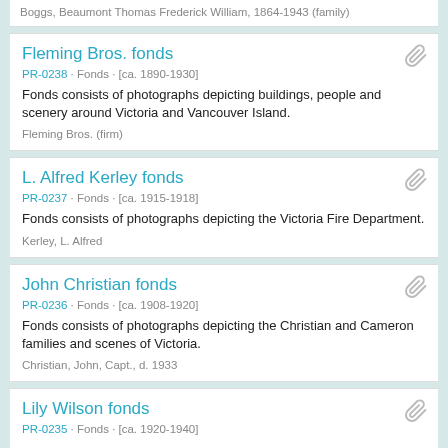Boggs, Beaumont Thomas Frederick William, 1864-1943 (family)
Fleming Bros. fonds
PR-0238 · Fonds · [ca. 1890-1930]
Fonds consists of photographs depicting buildings, people and scenery around Victoria and Vancouver Island.
Fleming Bros. (firm)
L. Alfred Kerley fonds
PR-0237 · Fonds · [ca. 1915-1918]
Fonds consists of photographs depicting the Victoria Fire Department.
Kerley, L. Alfred
John Christian fonds
PR-0236 · Fonds · [ca. 1908-1920]
Fonds consists of photographs depicting the Christian and Cameron families and scenes of Victoria.
Christian, John, Capt., d. 1933
Lily Wilson fonds
PR-0235 · Fonds · [ca. 1920-1940]